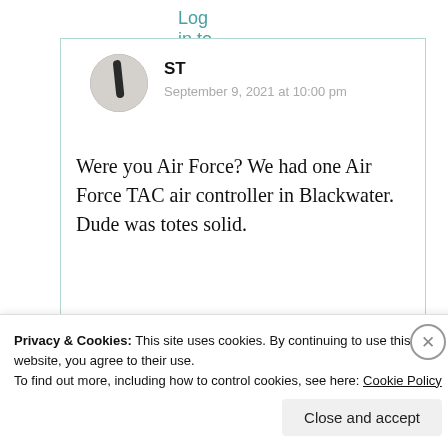Log in to Reply
ST
September 9, 2021 at 10:00 pm
Were you Air Force? We had one Air Force TAC air controller in Blackwater. Dude was totes solid.
Liked by 1 person
Privacy & Cookies: This site uses cookies. By continuing to use this website, you agree to their use.
To find out more, including how to control cookies, see here: Cookie Policy
Close and accept